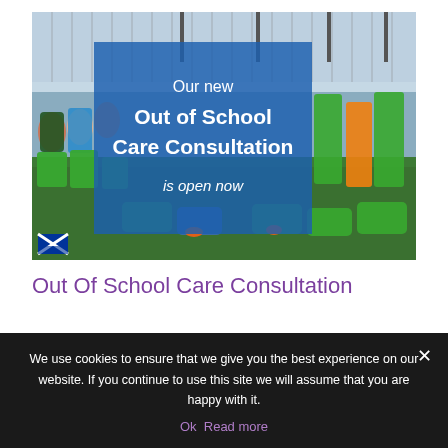[Figure (photo): Group photo of adults and children in green sports bibs on an outdoor astroturf pitch with a blue overlay box showing text: 'Our new Out of School Care Consultation is open now'. Scottish Government logo in bottom left of photo.]
Out Of School Care Consultation
We use cookies to ensure that we give you the best experience on our website. If you continue to use this site we will assume that you are happy with it.
Ok  Read more